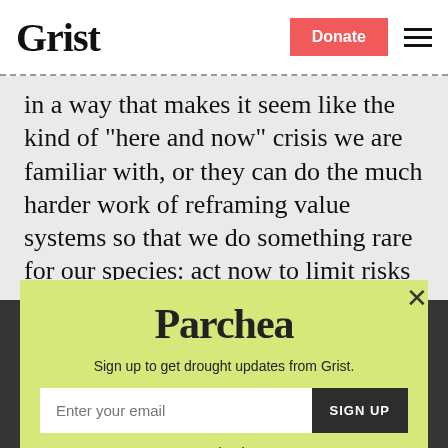Grist | Donate
in a way that makes it seem like the kind of "here and now" crisis we are familiar with, or they can do the much harder work of reframing value systems so that we do something rare for our species: act now to limit risks facing our children and their children.
Parchea
Sign up to get drought updates from Grist.
Enter your email
SIGN UP
No thanks